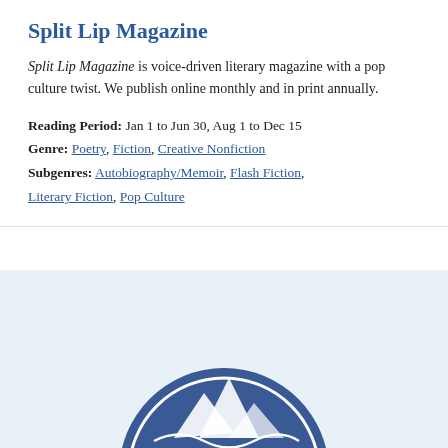Split Lip Magazine
Split Lip Magazine is voice-driven literary magazine with a pop culture twist. We publish online monthly and in print annually.
Reading Period: Jan 1 to Jun 30, Aug 1 to Dec 15
Genre: Poetry, Fiction, Creative Nonfiction
Subgenres: Autobiography/Memoir, Flash Fiction, Literary Fiction, Pop Culture
[Figure (logo): Circular badge/seal logo with mountain imagery and text, blue color scheme, partially visible at bottom of page]